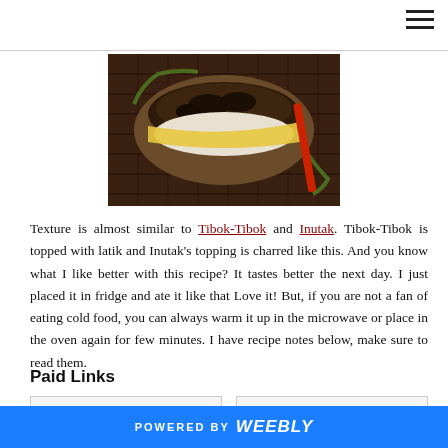[Figure (photo): Close-up photo of a Filipino rice cake (similar to Inutak) with charred/browned topping and yellow custard layer, placed on a bamboo mat]
Texture is almost similar to Tibok-Tibok and Inutak. Tibok-Tibok is topped with latik and Inutak's topping is charred like this. And you know what I like better with this recipe? It tastes better the next day. I just placed it in fridge and ate it like that Love it!  But, if you are not a fan of eating cold food, you can always warm it up in the microwave or place in the oven again for few minutes. I have recipe notes below, make sure to read them.
Paid Links
POWERED BY weebly